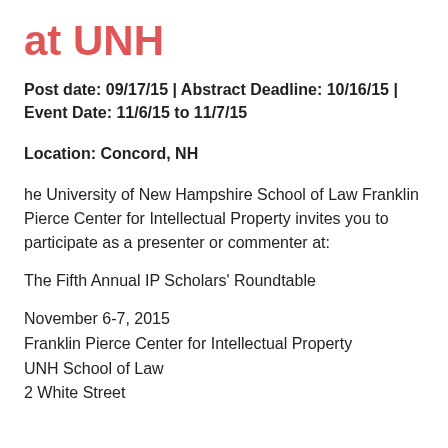at UNH
Post date: 09/17/15 | Abstract Deadline: 10/16/15 | Event Date: 11/6/15 to 11/7/15
Location: Concord, NH
he University of New Hampshire School of Law Franklin Pierce Center for Intellectual Property invites you to participate as a presenter or commenter at:
The Fifth Annual IP Scholars’ Roundtable
November 6-7, 2015
Franklin Pierce Center for Intellectual Property
UNH School of Law
2 White Street